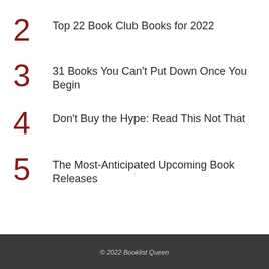2 Top 22 Book Club Books for 2022
3 31 Books You Can't Put Down Once You Begin
4 Don't Buy the Hype: Read This Not That
5 The Most-Anticipated Upcoming Book Releases
© 2022 Booklist Queen